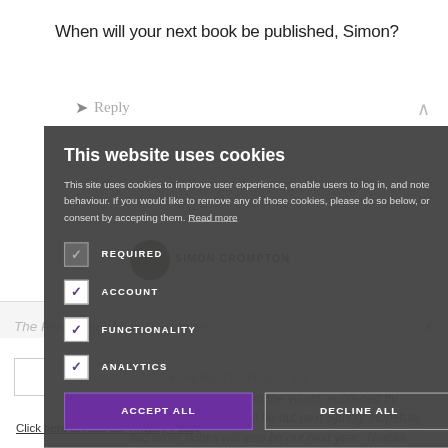When will your next book be published, Simon?
Reply
[Figure (screenshot): Cookie consent overlay dialog with dark semi-transparent background showing: title 'This website uses cookies', body text about site cookies, four checkboxes for REQUIRED, ACCOUNT, FUNCTIONALITY, ANALYTICS (all checked), and two buttons: ACCEPT ALL and DECLINE ALL]
Click here to read our Privacy Policy